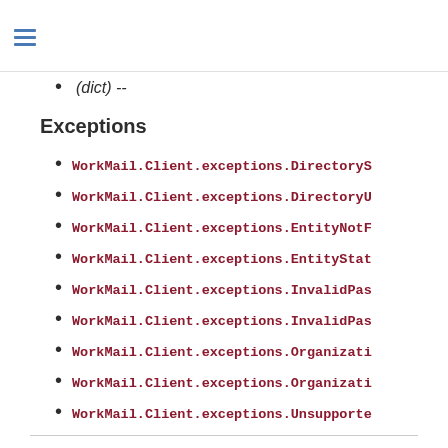(dict) --
Exceptions
WorkMail.Client.exceptions.DirectoryS...
WorkMail.Client.exceptions.DirectoryU...
WorkMail.Client.exceptions.EntityNotF...
WorkMail.Client.exceptions.EntityStat...
WorkMail.Client.exceptions.InvalidPas...
WorkMail.Client.exceptions.InvalidPas...
WorkMail.Client.exceptions.Organizati...
WorkMail.Client.exceptions.Organizati...
WorkMail.Client.exceptions.Unsupporte...
start_mailbox_export_job(**kwargs)
Starts a mailbox export job to export MIME-format email messages and calendar items...